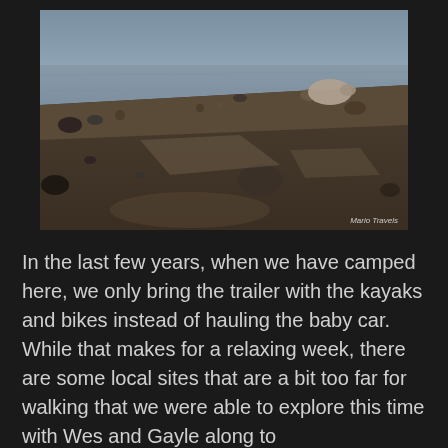[Figure (photo): A rocky shoreline with what appears to be a seal or marine animal resting on dark gravel/sand near calm water. Rocks are scattered around. Watermark reads 'Mario Travels' in bottom right corner.]
In the last few years, when we have camped here, we only bring the trailer with the kayaks and bikes instead of hauling the baby car. While that makes for a relaxing week, there are some local sites that are a bit too far for walking that we were able to explore this time with Wes and Gayle along to